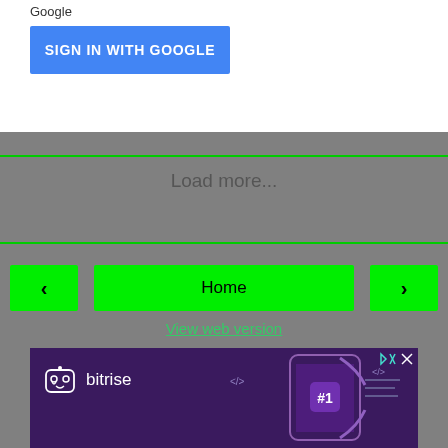[Figure (screenshot): White box with 'SIGN IN WITH GOOGLE' blue button at top of page]
Load more...
[Figure (screenshot): Navigation bar with left arrow, Home, and right arrow green buttons]
View web version
[Figure (screenshot): Bitrise advertisement banner with robot logo, bitrise text, and phone graphic with #1 on purple background]